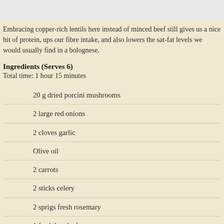Embracing copper-rich lentils here instead of minced beef still gives us a nice hit of protein, ups our fibre intake, and also lowers the sat-fat levels we would usually find in a bolognese.
Ingredients (Serves 6)
Total time: 1 hour 15 minutes
20 g dried porcini mushrooms
2 large red onions
2 cloves garlic
Olive oil
2 carrots
2 sticks celery
2 sprigs fresh rosemary
1 fresh bay leaf
100 ml Chianti